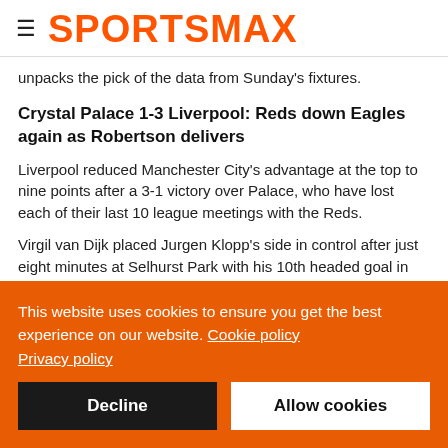SPORTSMAX
unpacks the pick of the data from Sunday's fixtures.
Crystal Palace 1-3 Liverpool: Reds down Eagles again as Robertson delivers
Liverpool reduced Manchester City's advantage at the top to nine points after a 3-1 victory over Palace, who have lost each of their last 10 league meetings with the Reds.
Virgil van Dijk placed Jurgen Klopp's side in control after just eight minutes at Selhurst Park with his 10th headed goal in the
This website uses cookies to ensure you get the best experience on our website. Cookie policy
Privacy policy
Decline
Allow cookies